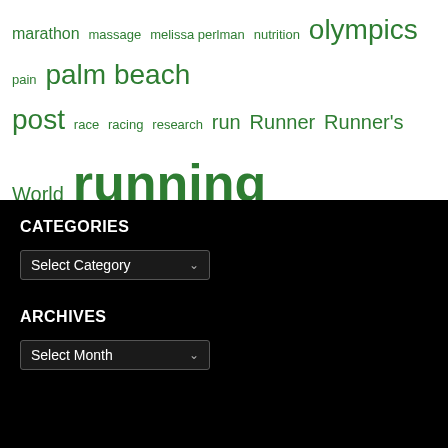marathon massage melissa perlman nutrition olympics pain palm beach post race racing research run Runner Runner's World running shoes south florida South Florida Runs Spanish River Team USA track USA
CATEGORIES
Select Category
ARCHIVES
Select Month